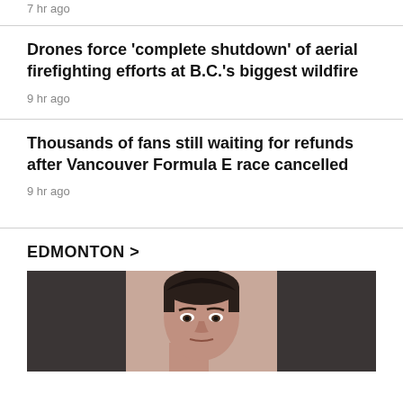7 hr ago
Drones force 'complete shutdown' of aerial firefighting efforts at B.C.'s biggest wildfire
9 hr ago
Thousands of fans still waiting for refunds after Vancouver Formula E race cancelled
9 hr ago
EDMONTON >
[Figure (photo): Photograph of a man with dark hair, appears to be a mugshot or portrait against a light background, partially cropped.]